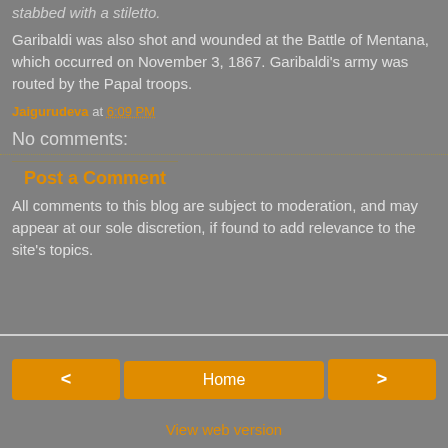stabbed with a stiletto.
Garibaldi was also shot and wounded at the Battle of Mentana, which occurred on November 3, 1867. Garibaldi's army was routed by the Papal troops.
Jaigurudeva at 6:09 PM
No comments:
Post a Comment
All comments to this blog are subject to moderation, and may appear at our sole discretion, if found to add relevance to the site's topics.
< Home > View web version